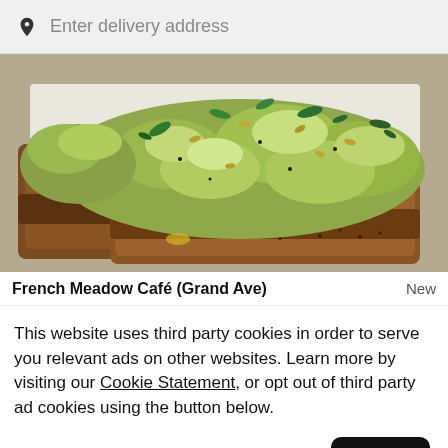Enter delivery address
[Figure (photo): Photo of avocado toast on toasted bread with seeds, herbs, and green toppings on a white plate]
French Meadow Café (Grand Ave)    New
This website uses third party cookies in order to serve you relevant ads on other websites. Learn more by visiting our Cookie Statement, or opt out of third party ad cookies using the button below.
Opt out
Got it